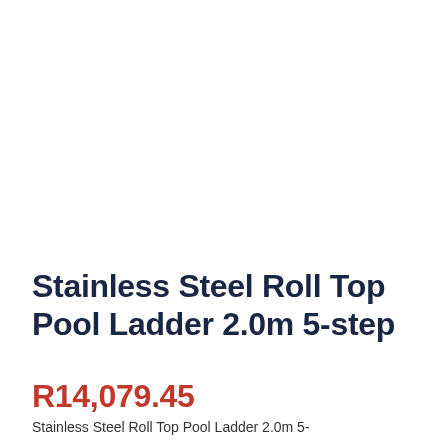Stainless Steel Roll Top Pool Ladder 2.0m 5-step
R14,079.45
Stainless Steel Roll Top Pool Ladder 2.0m 5-